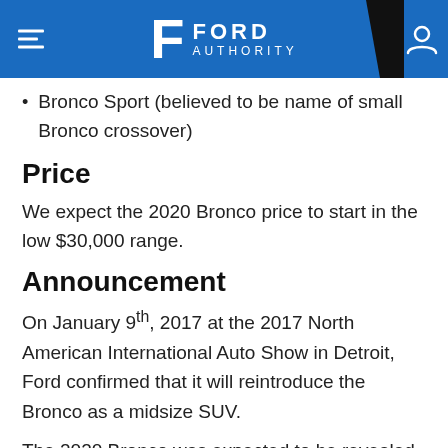Ford Authority
Bronco Sport (believed to be name of small Bronco crossover)
Price
We expect the 2020 Bronco price to start in the low $30,000 range.
Announcement
On January 9th, 2017 at the 2017 North American International Auto Show in Detroit, Ford confirmed that it will reintroduce the Bronco as a midsize SUV.
The 2020 Bronco was expected to be revealed at the 2019 North American International Auto Show in January 2019, or at a private event around that timeframe. However, that did not materialize. Instead,